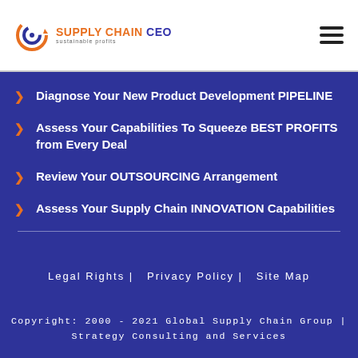[Figure (logo): Supply Chain CEO logo with circular icon in orange and blue, text 'SUPPLY CHAIN CEO' in dark blue with orange accent, subtitle 'Sustainable Profits']
Diagnose Your New Product Development PIPELINE
Assess Your Capabilities To Squeeze BEST PROFITS from Every Deal
Review Your OUTSOURCING Arrangement
Assess Your Supply Chain INNOVATION Capabilities
Legal Rights |   Privacy Policy |   Site Map
Copyright: 2000 - 2021 Global Supply Chain Group | Strategy Consulting and Services